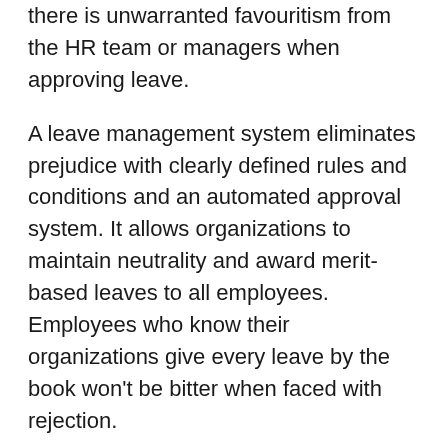there is unwarranted favouritism from the HR team or managers when approving leave.
A leave management system eliminates prejudice with clearly defined rules and conditions and an automated approval system. It allows organizations to maintain neutrality and award merit-based leaves to all employees. Employees who know their organizations give every leave by the book won't be bitter when faced with rejection.
Reduce Absenteeism
Absenteeism can be a major reason many small-and medium-sized enterprises fail to meet their productivity targets. It's easy to see that if there isn't a system to track and manage leave, employees will